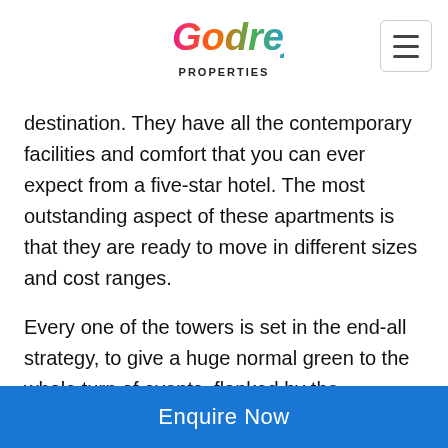Godrej Properties
destination. They have all the contemporary facilities and comfort that you can ever expect from a five-star hotel. The most outstanding aspect of these apartments is that they are ready to move in different sizes and cost ranges.
Every one of the towers is set in the end-all strategy, to give a huge normal green to the whole turn of events, flanked by the clubhouse. This turns into the main visual reference for an inhabitant or a guest. The blocks are staggered
Enquire Now